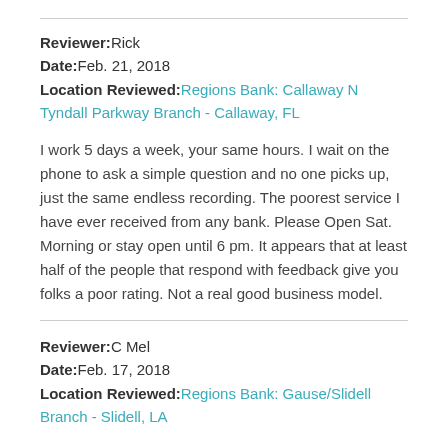Reviewer: Rick
Date: Feb. 21, 2018
Location Reviewed: Regions Bank: Callaway N Tyndall Parkway Branch - Callaway, FL
I work 5 days a week, your same hours. I wait on the phone to ask a simple question and no one picks up, just the same endless recording. The poorest service I have ever received from any bank. Please Open Sat. Morning or stay open until 6 pm. It appears that at least half of the people that respond with feedback give you folks a poor rating. Not a real good business model.
Reviewer: C Mel
Date: Feb. 17, 2018
Location Reviewed: Regions Bank: Gause/Slidell Branch - Slidell, LA
When searching for a Office phone # for a specific Regions Bank. No Office numbers are listed...?